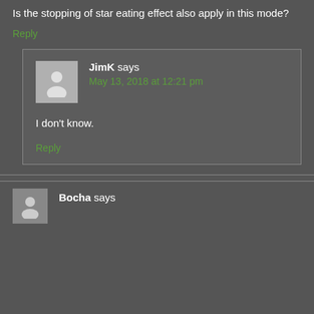Is the stopping of star eating effect also apply in this mode?
Reply
JimK says
May 13, 2018 at 12:21 pm
I don't know.
Reply
Bocha says